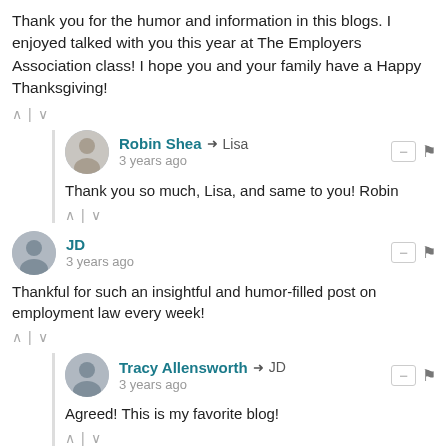Thank you for the humor and information in this blogs. I enjoyed talked with you this year at The Employers Association class! I hope you and your family have a Happy Thanksgiving!
Robin Shea → Lisa · 3 years ago · Thank you so much, Lisa, and same to you! Robin
JD · 3 years ago · Thankful for such an insightful and humor-filled post on employment law every week!
Tracy Allensworth → JD · 3 years ago · Agreed! This is my favorite blog!